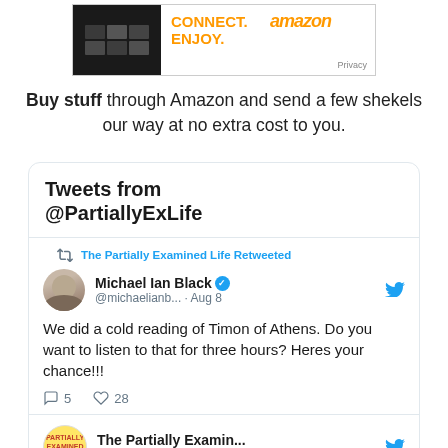[Figure (screenshot): Amazon affiliate advertisement banner with product images, CONNECT. ENJOY. text in orange, and Privacy link]
Buy stuff through Amazon and send a few shekels our way at no extra cost to you.
[Figure (screenshot): Twitter widget showing Tweets from @PartiallyExLife, with a retweet of Michael Ian Black (@michaelianb...) Aug 8: 'We did a cold reading of Timon of Athens. Do you want to listen to that for three hours? Heres your chance!!!' with 5 comments and 28 likes, and a second tweet from The Partially Examin... @PartiallyEx... Aug 26]